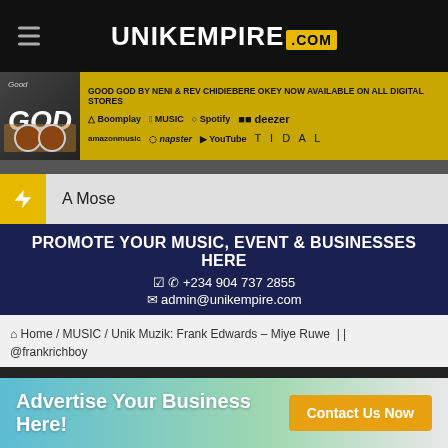[Figure (screenshot): UnikEmpire.com website header with hamburger menu and logo on black background]
[Figure (infographic): Good God by Neni & Rev Chidiebere Okey banner ad showing availability on Boomplay, Apple Music, Spotify, Deezer, Amazon Music, Napster, YouTube, Tidal]
A Mose
PROMOTE YOUR MUSIC, EVENT & BUSINESSES HERE
+234 904 737 2855
admin@unikempire.com
Home / MUSIC / Unik Muzik: Frank Edwards – Miye Ruwe | | @frankrichboy
[Figure (infographic): Advertise Your Business Here! Contact Us Now button banner ad]